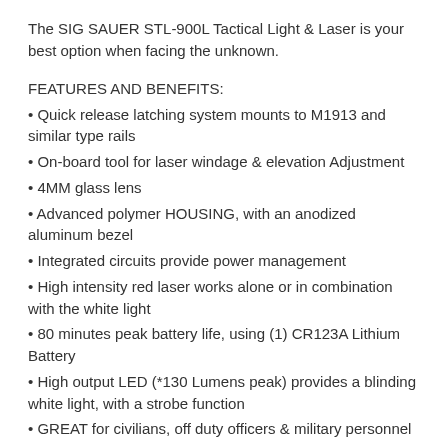The SIG SAUER STL-900L Tactical Light & Laser is your best option when facing the unknown.
FEATURES AND BENEFITS:
Quick release latching system mounts to M1913 and similar type rails
On-board tool for laser windage & elevation Adjustment
4MM glass lens
Advanced polymer HOUSING, with an anodized aluminum bezel
Integrated circuits provide power management
High intensity red laser works alone or in combination with the white light
80 minutes peak battery life, using (1) CR123A Lithium Battery
High output LED (*130 Lumens peak) provides a blinding white light, with a strobe function
GREAT for civilians, off duty officers & military personnel